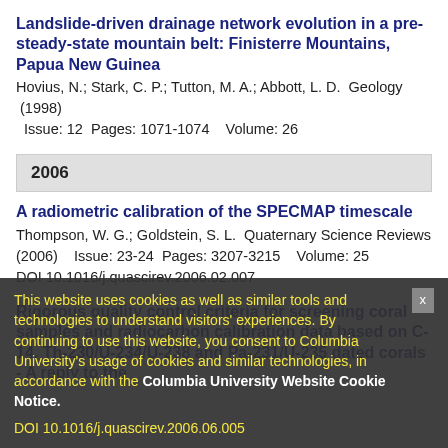Landslide-driven drainage network evolution in a pre-steady-state mountain belt: Finisterre Mountains, Papua New Guinea
Hovius, N.; Stark, C. P.; Tutton, M. A.; Abbott, L. D.  Geology  (1998)  Issue: 12  Pages: 1071-1074    Volume: 26
2006
A radiometric calibration of the SPECMAP timescale
Thompson, W. G.; Goldstein, S. L.  Quaternary Science Reviews (2006)    Issue: 23-24  Pages: 3207-3215    Volume: 25
DOI 10.1016/j.quascirev.2006.02.007
Rigorous quality control criteria for screening coral samples and radiocarbon calibration data based on C-14, Th-230/U-234/U-238 and Pa-231/U-235 dated corals - A reply to the comments by Voelker et al. and Towers and Schaefer including the understanding
Cutler, K. B.; Chiu, T. C.; University Radiocarbon Laboratory (2006) ... Volume: 25
DOI 10.1016/j.quascirev.2006.06.005
This website uses cookies as well as similar tools and technologies to understand visitors' experiences. By continuing to use this website, you consent to Columbia University's usage of cookies and similar technologies, in accordance with the Columbia University Website Cookie Notice.